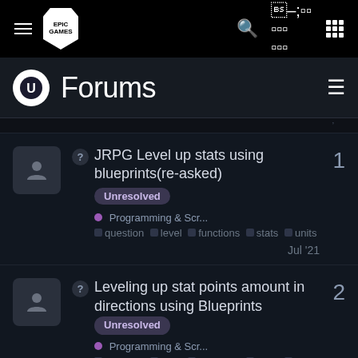[Figure (screenshot): Epic Games top navigation bar with hamburger menu, Epic Games logo, search icon, and grid icon on black background]
Forums
JRPG Level up stats using blueprints(re-asked) — Unresolved — Programming & Scr... — question level functions stats units — Jul '21 — 1 reply
Leveling up stat points amount in directions using Blueprints — Unresolved — Programming & Scr... — question level functions stats units — Jun '21 — 2 replies